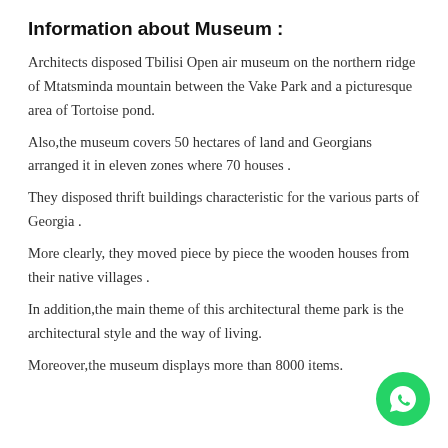Information about Museum :
Architects disposed Tbilisi Open air museum on the northern ridge of Mtatsminda mountain between the Vake Park and a picturesque area of Tortoise pond.
Also,the museum covers 50 hectares of land and Georgians arranged it in eleven zones where 70 houses .
They disposed thrift buildings characteristic for the various parts of Georgia .
More clearly, they moved piece by piece the wooden houses from their native villages .
In addition,the main theme of this architectural theme park is the architectural style and the way of living.
Moreover,the museum displays more than 8000 items.